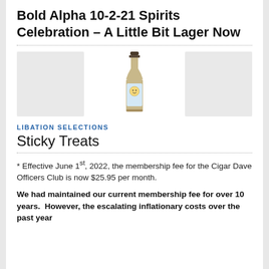Bold Alpha 10-2-21 Spirits Celebration – A Little Bit Lager Now
[Figure (photo): Three images in a row: a light gray placeholder box on the left, a beer bottle in the center, and a light gray placeholder box on the right.]
LIBATION SELECTIONS
Sticky Treats
* Effective June 1st, 2022, the membership fee for the Cigar Dave Officers Club is now $25.95 per month.
We had maintained our current membership fee for over 10 years.  However, the escalating inflationary costs over the past year